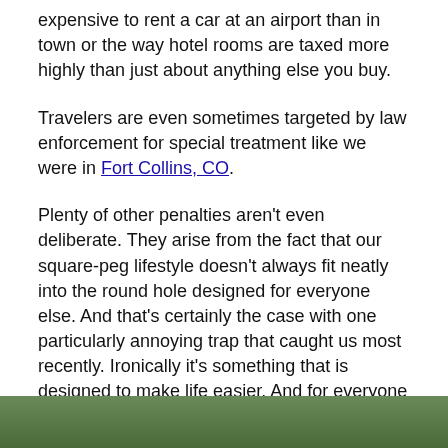expensive to rent a car at an airport than in town or the way hotel rooms are taxed more highly than just about anything else you buy.
Travelers are even sometimes targeted by law enforcement for special treatment like we were in Fort Collins, CO.
Plenty of other penalties aren't even deliberate. They arise from the fact that our square-peg lifestyle doesn't always fit neatly into the round hole designed for everyone else. And that's certainly the case with one particularly annoying trap that caught us most recently. Ironically it's something that is designed to make life easier. And for everyone else it almost certainly does. But to us it is the most hateful innovation of all time: the automated traffic toll.
[Figure (photo): Partial photo strip at bottom of page showing green vegetation/trees]